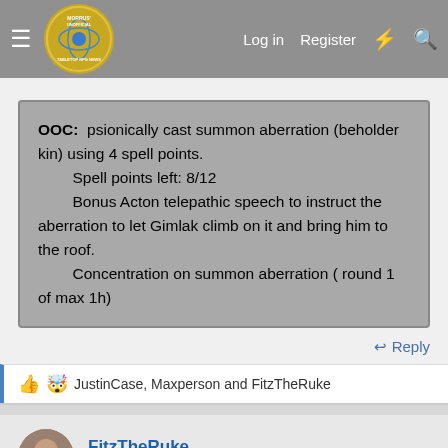Morrus' Unofficial Tabletop RPG News — Log in | Register
OOC: psionically cast summon aberration (beholder kin) using 4 spell points.
Spell points left: 8/12
Bonus Acton telepathic speech to instruct the aberration to let Gimlak climb on it and bring him to the roof.
Concentration on summon aberration ( round 1 of max 1h)
Reply
JustinCase, Maxperson and FitzTheRuke
FitzTheRuke